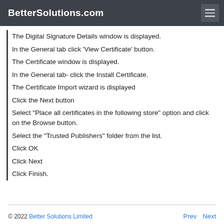BetterSolutions.com
The Digital Signature Details window is displayed.
In the General tab click 'View Certificate' button.
The Certificate window is displayed.
In the General tab- click the Install Certificate.
The Certificate Import wizard is displayed
Click the Next button
Select "Place all certificates in the following store" option and click on the Browse button.
Select the "Trusted Publishers" folder from the list.
Click OK
Click Next
Click Finish.
© 2022 Better Solutions Limited   Prev  Next